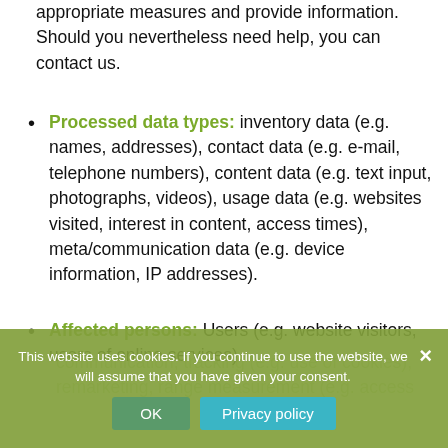appropriate measures and provide information. Should you nevertheless need help, you can contact us.
Processed data types: inventory data (e.g. names, addresses), contact data (e.g. e-mail, telephone numbers), content data (e.g. text input, photographs, videos), usage data (e.g. websites visited, interest in content, access times), meta/communication data (e.g. device information, IP addresses).
Affected persons: Users (e.g. website visitors, users of online services).
This website uses cookies. If you continue to use the website, we will assume that you have given your consent.